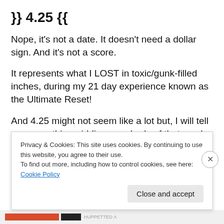}} 4.25 {{
Nope, it's not a date. It doesn't need a dollar sign. And it's not a score.
It represents what I LOST in toxic/gunk-filled inches, during my 21 day experience known as the Ultimate Reset!
And 4.25 might not seem like a lot but, I will tell you something, ridding your body of that much toxicity really
Privacy & Cookies: This site uses cookies. By continuing to use this website, you agree to their use.
To find out more, including how to control cookies, see here: Cookie Policy
Close and accept